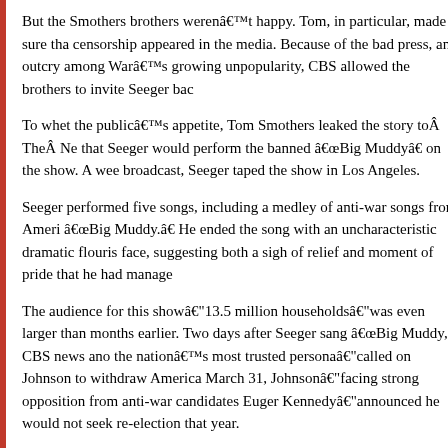But the Smothers brothers weren't happy. Tom, in particular, made sure that censorship appeared in the media. Because of the bad press, an outcry among War's growing unpopularity, CBS allowed the brothers to invite Seeger back.
To whet the public's appetite, Tom Smothers leaked the story to The New that Seeger would perform the banned “Big Muddy” on the show. A week before broadcast, Seeger taped the show in Los Angeles.
Seeger performed five songs, including a medley of anti-war songs from America, “Big Muddy.” He ended the song with an uncharacteristic dramatic flourish on his face, suggesting both a sigh of relief and moment of pride that he had managed.
The audience for this show— 13.5 million households—was even larger than months earlier. Two days after Seeger sang “Big Muddy,” CBS news anchor, the nation's most trusted persona—called on Johnson to withdraw America. March 31, Johnson—facing strong opposition from anti-war candidates Eugene Kennedy—announced he would not seek re-election that year.
Meanwhile, the Smothers brothers continued to find themselves in trouble with premiere, the network deleted an entire segment featuring Harry Belafonte singing Carnival” while newsreel footage of the violence at the 1968 Democratic national background. In March 1969, folk singer Joan Baez paid tribute to her then-husband about to enter prison for refusing military service. CBS censors permitted Baez was in prison, but edited out the reason.